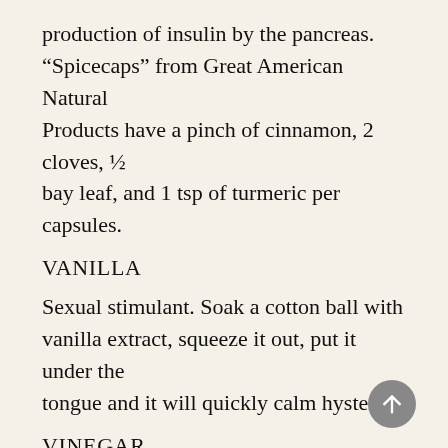production of insulin by the pancreas. “Spicecaps” from Great American Natural Products have a pinch of cinnamon, 2 cloves, ½ bay leaf, and 1 tsp of turmeric per capsules.
VANILLA
Sexual stimulant. Soak a cotton ball with vanilla extract, squeeze it out, put it under the tongue and it will quickly calm hysteria.
VINEGAR
Naturally brewed apple cider vinegar deserves a course all on it’s own. It is one of the finest blood cleansers and arthritis cures known. Take 1 tbsp per day of equal parts vinegar and honey in water to taste to cleanse